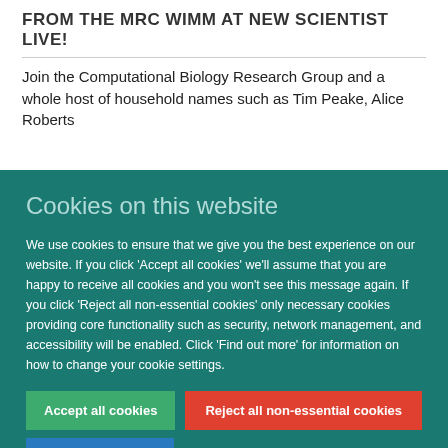FROM THE MRC WIMM AT NEW SCIENTIST LIVE!
Join the Computational Biology Research Group and a whole host of household names such as Tim Peake, Alice Roberts
Cookies on this website
We use cookies to ensure that we give you the best experience on our website. If you click 'Accept all cookies' we'll assume that you are happy to receive all cookies and you won't see this message again. If you click 'Reject all non-essential cookies' only necessary cookies providing core functionality such as security, network management, and accessibility will be enabled. Click 'Find out more' for information on how to change your cookie settings.
Accept all cookies
Reject all non-essential cookies
Find out more